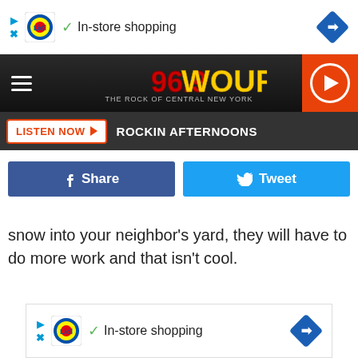[Figure (screenshot): Lidl advertisement banner with In-store shopping text and navigation arrow icon]
[Figure (logo): 96.9 WOUR The Rock of Central New York radio station header with hamburger menu and play button]
LISTEN NOW   ROCKIN AFTERNOONS
[Figure (infographic): Facebook Share button (dark blue) and Twitter Tweet button (light blue)]
snow into your neighbor's yard, they will have to do more work and that isn't cool.
[Figure (screenshot): Lidl advertisement banner with In-store shopping text and navigation arrow icon (bottom)]